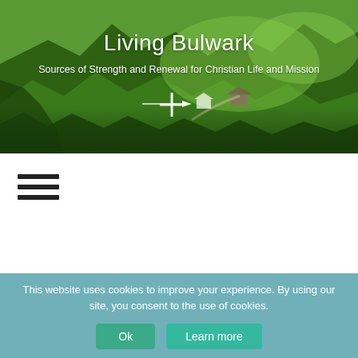[Figure (photo): Mountain landscape with green forested slopes and a house visible among the trees, serving as a hero background image]
Living Bulwark
Sources of Strength and Renewal for Christian Life and Mission
[Figure (other): White plus/cross icon with an arrow overlay on the hero image]
[Figure (other): Hamburger menu icon (three horizontal lines)]
This website uses cookies to improve your experience. By using our site, you consent to the use of cookies.
Ok
Learn more